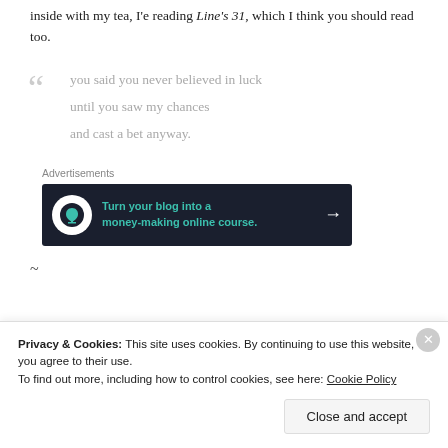inside with my tea, I’e reading Line’s 31, which I think you should read too.
you said you never believed in luck
until you saw my chances
and cast a bet anyway.
Advertisements
[Figure (infographic): Dark banner ad: Turn your blog into a money-making online course. with tree/bonsai icon and arrow]
~
Privacy & Cookies: This site uses cookies. By continuing to use this website, you agree to their use.
To find out more, including how to control cookies, see here: Cookie Policy
Close and accept